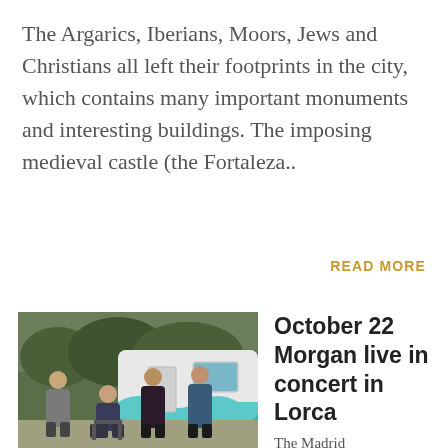The Argarics, Iberians, Moors, Jews and Christians all left their footprints in the city, which contains many important monuments and interesting buildings. The imposing medieval castle (the Fortaleza..
READ MORE
[Figure (photo): Four people (band members) posing outdoors near a vintage teal-and-white caravan/trailer. One woman seated, three men standing around. Trees and shrubs in the background.]
October 22 Morgan live in concert in Lorca
The Madrid